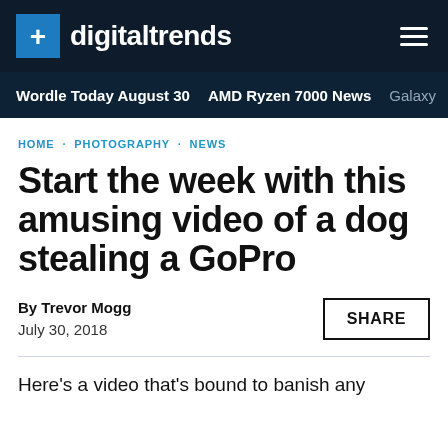digitaltrends
Wordle Today August 30 · AMD Ryzen 7000 News · Galaxy
HOME · PHOTOGRAPHY · NEWS
Start the week with this amusing video of a dog stealing a GoPro
By Trevor Mogg
July 30, 2018
SHARE
Here's a video that's bound to banish any